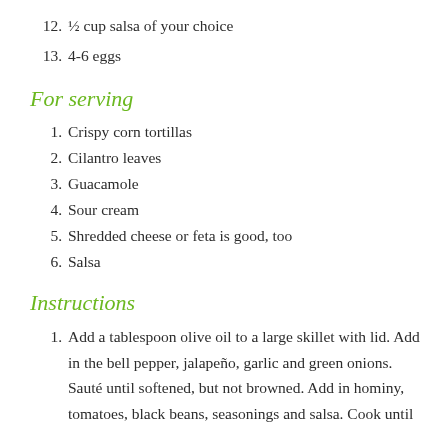12. ½ cup salsa of your choice
13. 4-6 eggs
For serving
1. Crispy corn tortillas
2. Cilantro leaves
3. Guacamole
4. Sour cream
5. Shredded cheese or feta is good, too
6. Salsa
Instructions
1. Add a tablespoon olive oil to a large skillet with lid. Add in the bell pepper, jalapeño, garlic and green onions. Sauté until softened, but not browned. Add in hominy, tomatoes, black beans, seasonings and salsa. Cook until